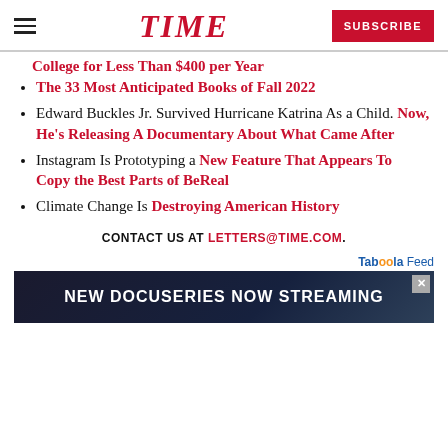TIME | SUBSCRIBE
College for Less Than $400 per Year
The 33 Most Anticipated Books of Fall 2022
Edward Buckles Jr. Survived Hurricane Katrina As a Child. Now, He's Releasing A Documentary About What Came After
Instagram Is Prototyping a New Feature That Appears To Copy the Best Parts of BeReal
Climate Change Is Destroying American History
CONTACT US AT LETTERS@TIME.COM.
[Figure (other): Taboola Feed advertisement banner reading NEW DOCUSERIES NOW STREAMING]